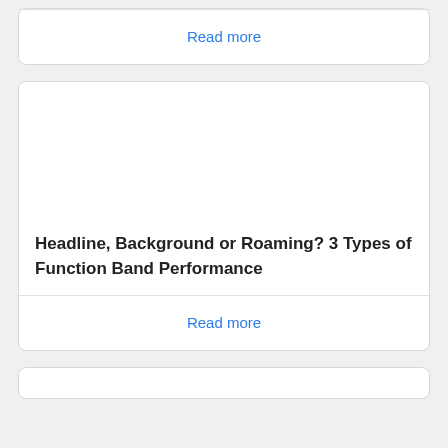Read more
[Figure (photo): Image placeholder for article card]
Headline, Background or Roaming? 3 Types of Function Band Performance
Read more